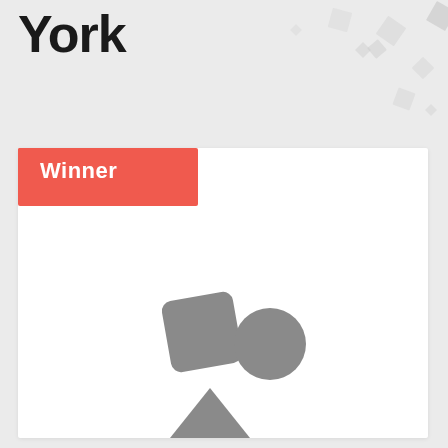York
[Figure (illustration): Decorative confetti shapes (small squares and diamonds) scattered in background, light gray on light background]
[Figure (illustration): White card with a red 'Winner' badge in top-left corner and three gray shapes (rounded square, circle, triangle) arranged in center-lower area of card]